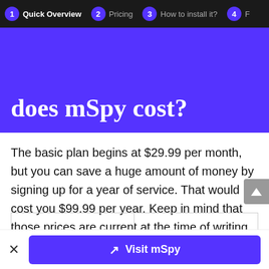1 Quick Overview  2 Pricing  3 How to install it?  4 F
does mSpy cost?
The basic plan begins at $29.99 per month, but you can save a huge amount of money by signing up for a year of service. That would cost you $99.99 per year. Keep in mind that those prices are current at the time of writing, and they could be subject to change.
[Figure (other): Visit mSpy call-to-action button at the bottom of the page, with a close (×) button to the left.]